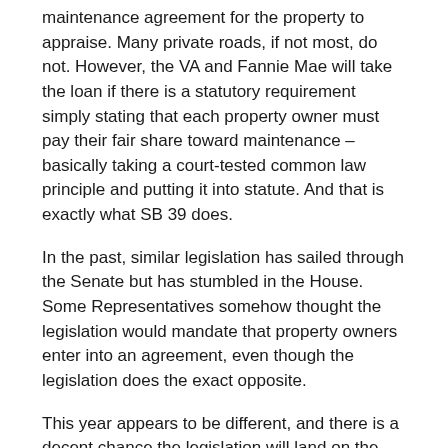maintenance agreement for the property to appraise. Many private roads, if not most, do not. However, the VA and Fannie Mae will take the loan if there is a statutory requirement simply stating that each property owner must pay their fair share toward maintenance – basically taking a court-tested common law principle and putting it into statute. And that is exactly what SB 39 does.
In the past, similar legislation has sailed through the Senate but has stumbled in the House. Some Representatives somehow thought the legislation would mandate that property owners enter into an agreement, even though the legislation does the exact opposite.
This year appears to be different, and there is a decent chance the legislation will land on the Governor's desk. NHAR is pushing hard, but we will need your help.
Please, take one minute to participate in the NHAR Call for Action on Senate Bill 39 which will be coming out this